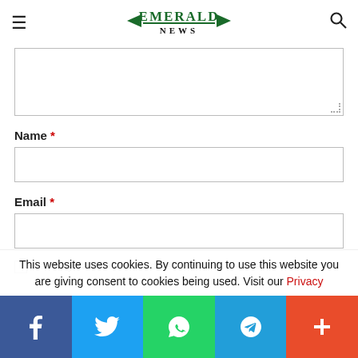EMERALD NEWS
[Figure (screenshot): Comment form with textarea (partially visible), Name field, Email field, and save checkbox. Cookie consent banner visible at bottom. Social sharing bar at very bottom with Facebook, Twitter, WhatsApp, Telegram, and More buttons.]
Name *
Email *
Save my name, email, and website in this browser for the
This website uses cookies. By continuing to use this website you are giving consent to cookies being used. Visit our Privacy